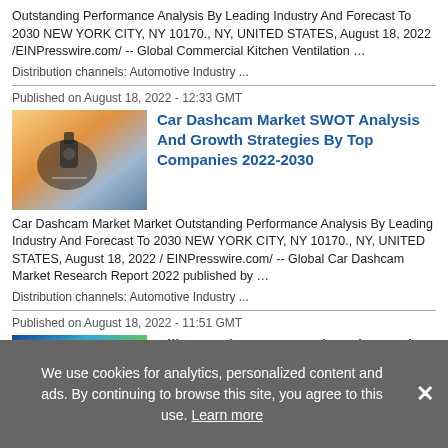Outstanding Performance Analysis By Leading Industry And Forecast To 2030 NEW YORK CITY, NY 10170., NY, UNITED STATES, August 18, 2022 /EINPresswire.com/ -- Global Commercial Kitchen Ventilation …
Distribution channels: Automotive Industry ...
Published on August 18, 2022 - 12:33 GMT
[Figure (photo): Dashcam mounted on car windshield, warm lighting]
Car Dashcam Market SWOT Analysis And Growth Strategies By Top Companies 2022-2030
Car Dashcam Market Market Outstanding Performance Analysis By Leading Industry And Forecast To 2030 NEW YORK CITY, NY 10170., NY, UNITED STATES, August 18, 2022 / EINPresswire.com/ -- Global Car Dashcam Market Research Report 2022 published by …
Distribution channels: Automotive Industry ...
Published on August 18, 2022 - 11:51 GMT
[Figure (photo): Colorful silicone elastomer material, blue and green swirls]
Silicone Elastomer Market Share, Size
We use cookies for analytics, personalized content and ads. By continuing to browse this site, you agree to this use. Learn more